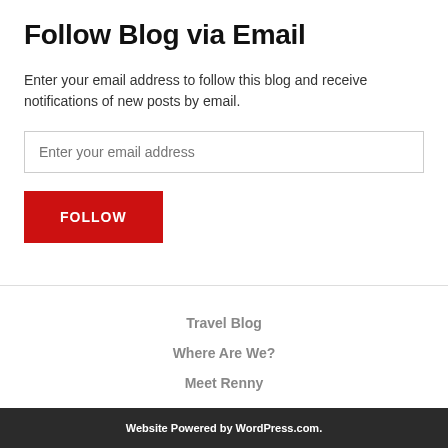Follow Blog via Email
Enter your email address to follow this blog and receive notifications of new posts by email.
Enter your email address
FOLLOW
Travel Blog
Where Are We?
Meet Renny
Website Powered by WordPress.com.